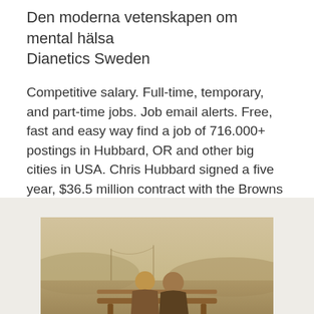Den moderna vetenskapen om mental hälsa
Dianetics Sweden
Competitive salary. Full-time, temporary, and part-time jobs. Job email alerts. Free, fast and easy way find a job of 716.000+ postings in Hubbard, OR and other big cities in USA. Chris Hubbard signed a five year, $36.5 million contract with the Browns on March 14, 2018.
[Figure (photo): Two people seen from behind sitting on a bench against a warm sepia-toned landscape with hills and a bridge in the background.]